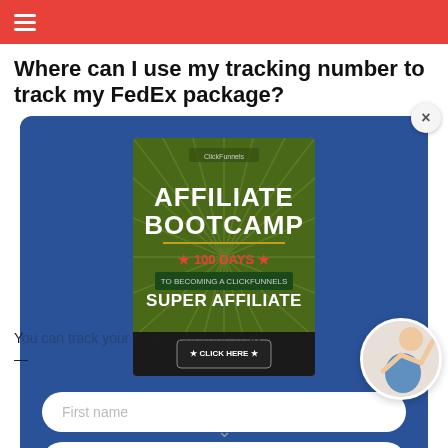≡ (navigation menu)
Where can I use my tracking number to track my FedEx package?
[Figure (screenshot): Modal popup overlay on a blue background showing an Affiliate Bootcamp book cover (green with '100 Days to Becoming a ClickFunnels Super Affiliate'), two form fields (First name, your@email.com), and a red 'DOWNLOAD FREE AFFILIATE GUIDE' button. A close (×) button appears at top right of the modal. A partial female avatar appears at bottom right.]
Y... sir —